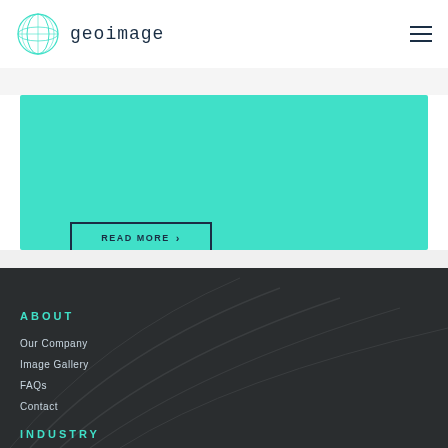[Figure (logo): Geoimage company logo with globe icon and text 'geoimage' in teal/dark navy]
[Figure (screenshot): Teal/turquoise colored banner section with a READ MORE button with arrow]
ABOUT
Our Company
Image Gallery
FAQs
Contact
INDUSTRY